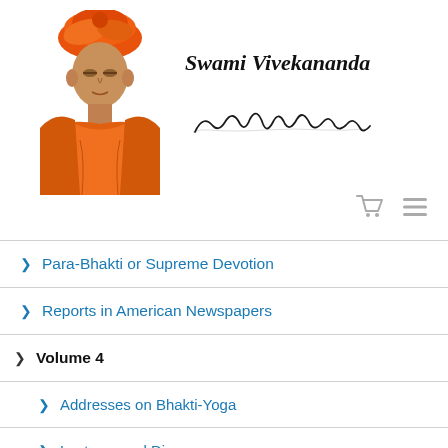[Figure (illustration): Portrait of Swami Vivekananda in orange robes and turban]
Swami Vivekananda
[Figure (illustration): Cursive signature of Swami Vivekananda]
Para-Bhakti or Supreme Devotion
Reports in American Newspapers
Volume 4
Addresses on Bhakti-Yoga
Lectures and Discourses
Translations: Poems